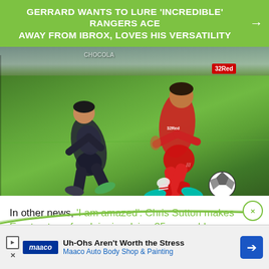GERRARD WANTS TO LURE 'INCREDIBLE' RANGERS ACE AWAY FROM IBROX, LOVES HIS VERSATILITY
[Figure (photo): Football/soccer action photo showing two players competing for the ball during a Sky Bet Championship match between Millwall and Middlesbrough at The Den on March 12, 2022 in London, England. One player wears red Middlesbrough kit with 32Red sponsor, the other in dark Millwall kit. A soccer ball is visible. Caption text rotated 90 degrees on left side.]
LONDON, ENGLAND – MARCH 12: Middlesbrough's Marcus Tavernier competing with Millwall's Zak Lovelace during the Sky Bet Championship match between Millwall and Middlesbrough at The Den on March 12, 2022 in London, England. (Photo by Andrew Kearns – CameraSport via Getty Images)
In other news, 'I am amazed': Chris Sutton makes Everton transfer claim involving 25-year-old
Uh-Ohs Aren't Worth the Stress Maaco Auto Body Shop & Painting